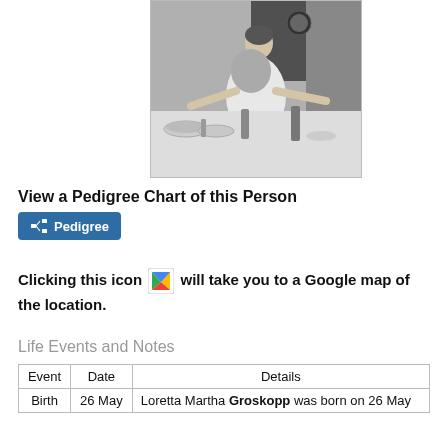[Figure (photo): Black and white photograph of a woman leaning over a table set for a meal, with dishes and bottles visible on the table and a clock on the wall in the background.]
View a Pedigree Chart of this Person
[Figure (other): Pedigree button with tree icon and text 'Pedigree']
Clicking this icon [Google Maps icon] will take you to a Google map of the location.
Life Events and Notes
| Event | Date | Details |
| --- | --- | --- |
| Birth | 26 May | Loretta Martha Groskopp was born on 26 May |